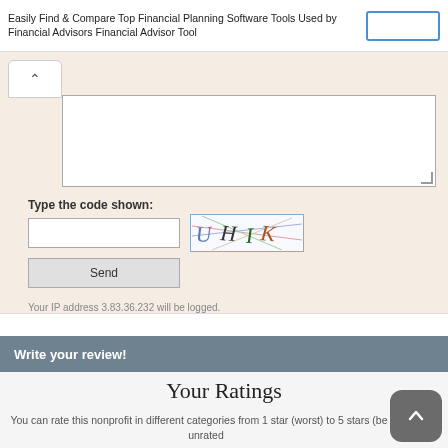Easily Find & Compare Top Financial Planning Software Tools Used by Financial Advisors Financial Advisor Tool
[Figure (screenshot): A collapsed/minimized form panel with an up-arrow chevron button, a text area input box, a CAPTCHA code entry field with a CAPTCHA image showing 'UHIK', a Send button, and an IP address notice.]
Type the code shown:
Send
Your IP address 3.83.36.232 will be logged.
Write your review!
Your Ratings
You can rate this nonprofit in different categories from 1 star (worst) to 5 stars (be ca unrated